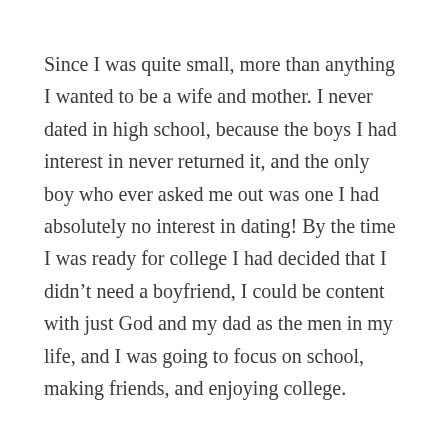Since I was quite small, more than anything I wanted to be a wife and mother. I never dated in high school, because the boys I had interest in never returned it, and the only boy who ever asked me out was one I had absolutely no interest in dating! By the time I was ready for college I had decided that I didn't need a boyfriend, I could be content with just God and my dad as the men in my life, and I was going to focus on school, making friends, and enjoying college.
I met my husband the very first day we were on campus.
It was in a “coffee shop” of sorts that had been started by people from area congregations as a place for the college